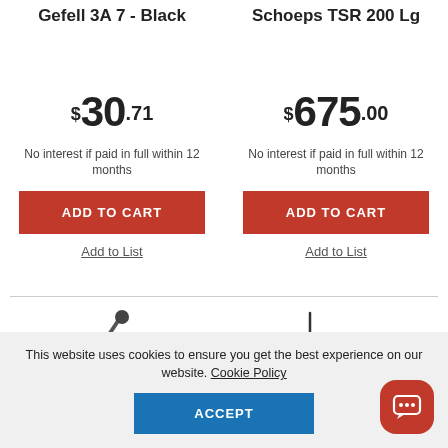Gefell 3A 7 - Black
Schoeps TSR 200 Lg
$30.71
$675.00
No interest if paid in full within 12 months
No interest if paid in full within 12 months
ADD TO CART
ADD TO CART
Add to List
Add to List
[Figure (photo): Product image of Gefell 3A 7 microphone shown partially at bottom left]
[Figure (photo): Product image of Schoeps TSR 200 Lg shown partially at bottom right as a vertical thin line]
This website uses cookies to ensure you get the best experience on our website. Cookie Policy
ACCEPT